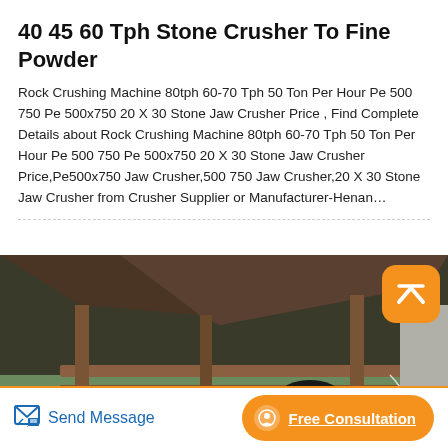40 45 60 Tph Stone Crusher To Fine Powder
Rock Crushing Machine 80tph 60-70 Tph 50 Ton Per Hour Pe 500 750 Pe 500x750 20 X 30 Stone Jaw Crusher Price , Find Complete Details about Rock Crushing Machine 80tph 60-70 Tph 50 Ton Per Hour Pe 500 750 Pe 500x750 20 X 30 Stone Jaw Crusher Price,Pe500x750 Jaw Crusher,500 750 Jaw Crusher,20 X 30 Stone Jaw Crusher from Crusher Supplier or Manufacturer-Henan…
[Figure (photo): Photograph of a stone jaw crusher machine with a large black flywheel and red casing, installed in an industrial/outdoor setting with metal framework and vegetation in background.]
Send Message
Free Consultation